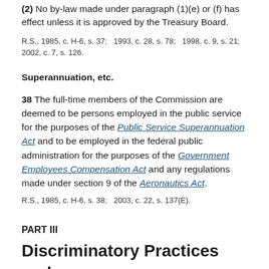Treasury Board approval
(2) No by-law made under paragraph (1)(e) or (f) has effect unless it is approved by the Treasury Board.
R.S., 1985, c. H-6, s. 37;   1993, c. 28, s. 78;   1998, c. 9, s. 21;  2002, c. 7, s. 126.
Superannuation, etc.
38 The full-time members of the Commission are deemed to be persons employed in the public service for the purposes of the Public Service Superannuation Act and to be employed in the federal public administration for the purposes of the Government Employees Compensation Act and any regulations made under section 9 of the Aeronautics Act.
R.S., 1985, c. H-6, s. 38;   2003, c. 22, s. 137(E).
PART III
Discriminatory Practices and